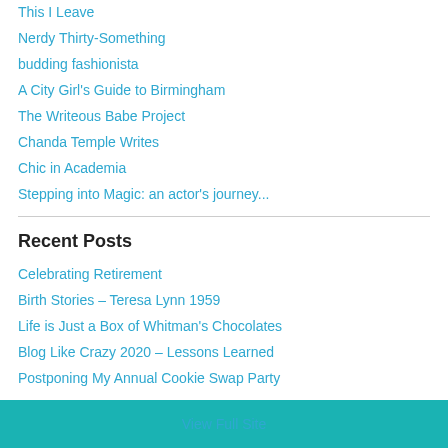This I Leave
Nerdy Thirty-Something
budding fashionista
A City Girl's Guide to Birmingham
The Writeous Babe Project
Chanda Temple Writes
Chic in Academia
Stepping into Magic: an actor's journey...
Recent Posts
Celebrating Retirement
Birth Stories – Teresa Lynn 1959
Life is Just a Box of Whitman's Chocolates
Blog Like Crazy 2020 – Lessons Learned
Postponing My Annual Cookie Swap Party
View Full Site